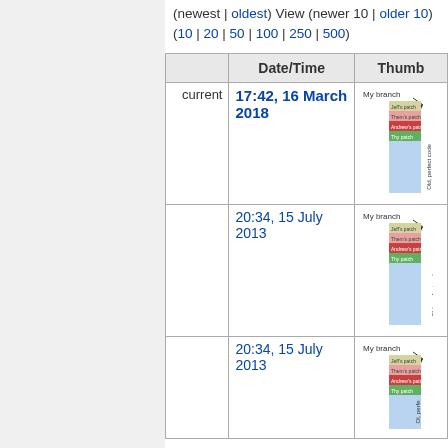(newest | oldest) View (newer 10 | older 10) (10 | 20 | 50 | 100 | 250 | 500)
|  | Date/Time | Thumb |
| --- | --- | --- |
| current | 17:42, 16 March 2018 | [thumbnail] |
|  | 20:34, 15 July 2013 | [thumbnail] |
|  | 20:34, 15 July 2013 | [thumbnail] |